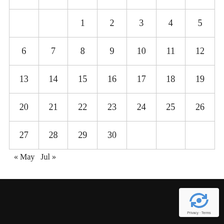| Sun | Mon | Tue | Wed | Thu | Fri | Sat |
| --- | --- | --- | --- | --- | --- | --- |
|  |  | 1 | 2 | 3 | 4 | 5 |
| 6 | 7 | 8 | 9 | 10 | 11 | 12 |
| 13 | 14 | 15 | 16 | 17 | 18 | 19 |
| 20 | 21 | 22 | 23 | 24 | 25 | 26 |
| 27 | 28 | 29 | 30 |  |  |  |
« May   Jul »
- Advertisement -